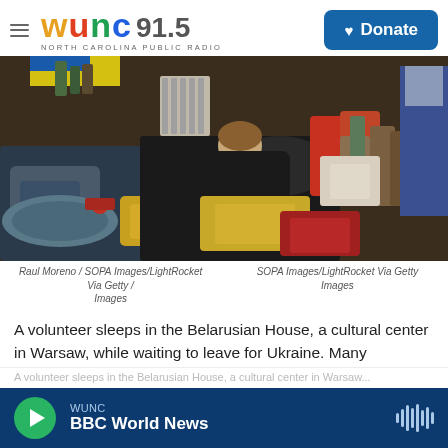WUNC 91.5 NORTH CAROLINA PUBLIC RADIO — Donate
[Figure (photo): A volunteer sleeps in the Belarusian House, a cultural center in Warsaw, surrounded by bags, supplies, and military equipment piled on the floor.]
Raul Moreno / SOPA Images/LightRocket Via Getty / Images     SOPA Images/LightRocket Via Getty Images
A volunteer sleeps in the Belarusian House, a cultural center in Warsaw, while waiting to leave for Ukraine. Many Belarusians have come to enlist in a battalion named after Kastus Kalinouski, a writer and revolutionary who was the driving force behind Belarusian nationalism in the 19th century.
WUNC — BBC World News